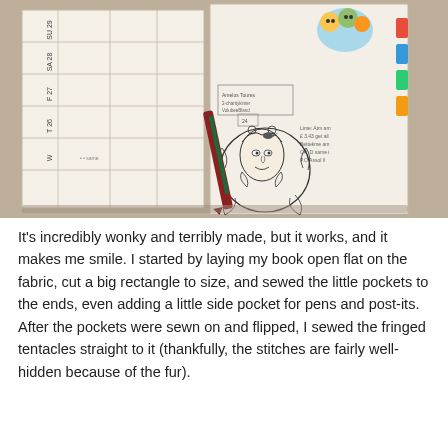[Figure (photo): A photograph of an open journal/planner book with a handmade fabric cover. The left page shows a weekly calendar grid with day labels (SU 29, SA 28, F 27, T 26, W) and horizontal/vertical grid lines. The right page features a decorative hand-drawn doodle of a feminine face surrounded by floral and swirl patterns, with some handwritten notes and a colorful illustrated character at the top. A dark red pen with a green clip rests in the center spine of the book. The book sits on a gray concrete surface.]
It's incredibly wonky and terribly made, but it works, and it makes me smile.  I started by laying my book open flat on the fabric, cut a big rectangle to size, and sewed the little pockets to the ends, even adding a little side pocket for pens and post-its.   After the pockets were sewn on and flipped, I sewed the fringed tentacles straight to it (thankfully, the stitches are fairly well-hidden because of the fur).